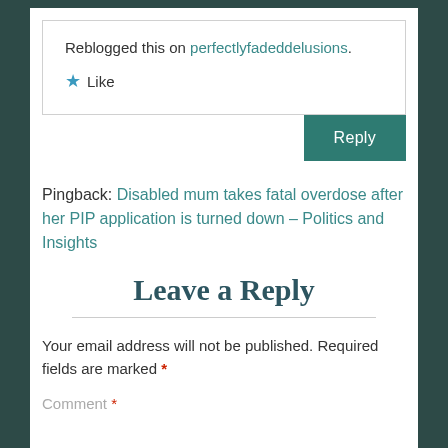Reblogged this on perfectlyfadeddelusions.
Like
Reply
Pingback: Disabled mum takes fatal overdose after her PIP application is turned down – Politics and Insights
Leave a Reply
Your email address will not be published. Required fields are marked *
Comment *